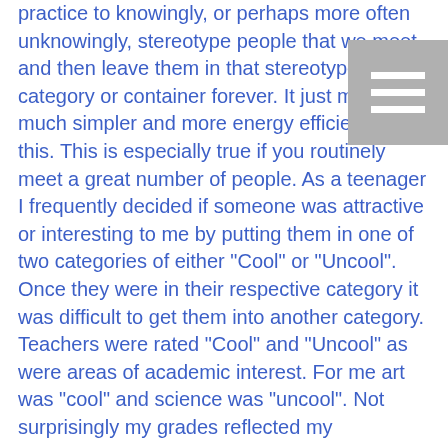practice to knowingly, or perhaps more often unknowingly, stereotype people that we meet and then leave them in that stereotyped category or container forever. It just makes life much simpler and more energy efficient to do this. This is especially true if you routinely meet a great number of people. As a teenager I frequently decided if someone was attractive or interesting to me by putting them in one of two categories of either "Cool" or "Uncool". Once they were in their respective category it was difficult to get them into another category. Teachers were rated "Cool" and "Uncool" as were areas of academic interest. For me art was "cool" and science was "uncool". Not surprisingly my grades reflected my stereotypes.
It doesn't take long to establish a label or stereotype when meeting a new person. According to the research of two Princeton researchers, Janine Willis and Alex Todorov, it takes only 1/10th of a second for a person to render an internal judgement or stereotype regarding the person they just met. You can review their work by going to https//doi.org/10.111/j1467-9280.2006.01750.x. Rightly or wrongly we judge people and put them in categories often without meeting them but judge them solely by their